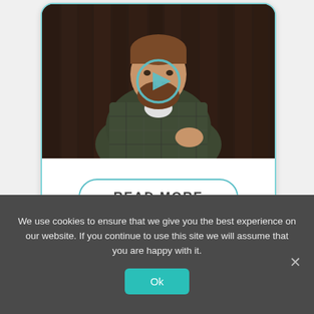[Figure (screenshot): A video thumbnail showing a man in a plaid shirt with a play button overlay on a dark wooden background.]
READ MORE
We use cookies to ensure that we give you the best experience on our website. If you continue to use this site we will assume that you are happy with it.
Ok